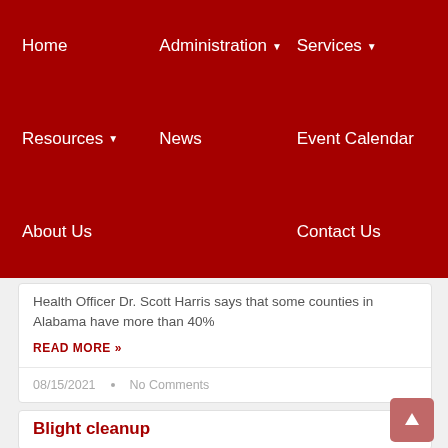Home | Administration | Services | Resources | News | Event Calendar | About Us | Contact Us
Health Officer Dr. Scott Harris says that some counties in Alabama have more than 40%
READ MORE »
08/15/2021 · No Comments
Blight cleanup